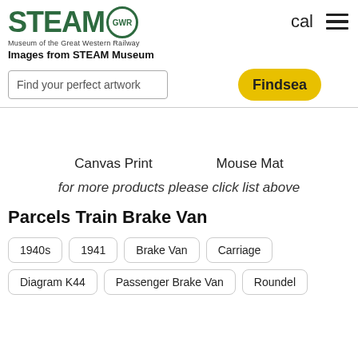[Figure (logo): STEAM Museum of the Great Western Railway logo with GWR circle emblem in dark green]
cal
[Figure (other): Hamburger menu icon (three horizontal lines)]
Images from STEAM Museum
Find your perfect artwork
Find sea
Canvas Print
Mouse Mat
for more products please click list above
Parcels Train Brake Van
1940s
1941
Brake Van
Carriage
Diagram K44
Passenger Brake Van
Roundel